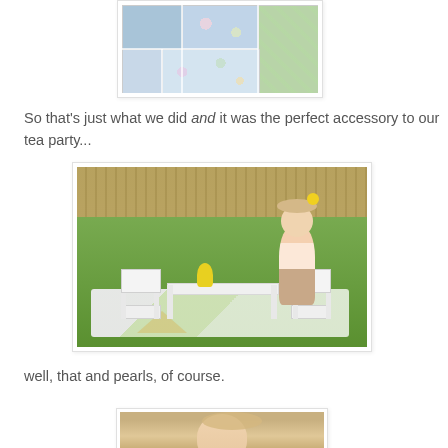[Figure (photo): Close-up of a quilt with blue floral and green patterned fabric squares on white background]
So that's just what we did and it was the perfect accessory to our tea party...
[Figure (photo): A young girl sitting at a small white table and chairs set on a colorful quilt in a backyard, with a yellow flower in her hair and a bouquet on the table, surrounded by green grass and a wooden fence]
well, that and pearls, of course.
[Figure (photo): Partial view of a child's face/portrait photo at bottom of page]